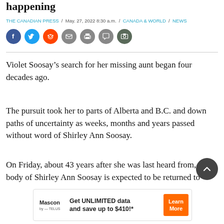happening
THE CANADIAN PRESS / May. 27, 2022 8:30 a.m. / CANADA & WORLD / NEWS
[Figure (other): Social media sharing icons: Facebook, Twitter, Reddit, Email, Print, Comment, Photo]
Violet Soosay’s search for her missing aunt began four decades ago.
The pursuit took her to parts of Alberta and B.C. and down paths of uncertainty as weeks, months and years passed without word of Shirley Ann Soosay.
On Friday, about 43 years after she was last heard from, the body of Shirley Ann Soosay is expected to be returned to
[Figure (other): Advertisement banner: Mascon by TELUS - Get UNLIMITED data and save up to $410!* - Learn More button]